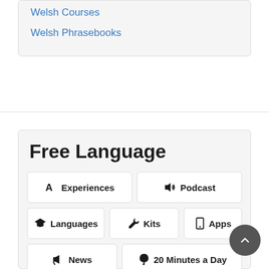Welsh Courses
Welsh Phrasebooks
Free Language
Experiences
Podcast
Languages
Kits
Apps
News
20 Minutes a Day